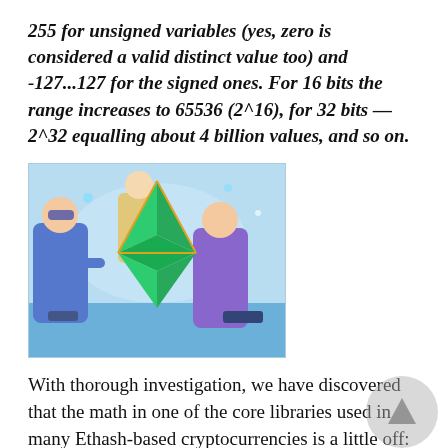255 for unsigned variables (yes, zero is considered a valid distinct value too) and -127...127 for the signed ones. For 16 bits the range increases to 65536 (2^16), for 32 bits — 2^32 equalling about 4 billion values, and so on.
[Figure (illustration): Illustration of scientists/engineers working with a large green Ethereum diamond logo in the center]
With thorough investigation, we have discovered that the math in one of the core libraries used in many Ethash-based cryptocurrencies is a little off: in the solution validity calculation values of 32 bits were used instead of 64 bits, thus failing the checks on the newly grown DAG file in the ETC. Moreover,